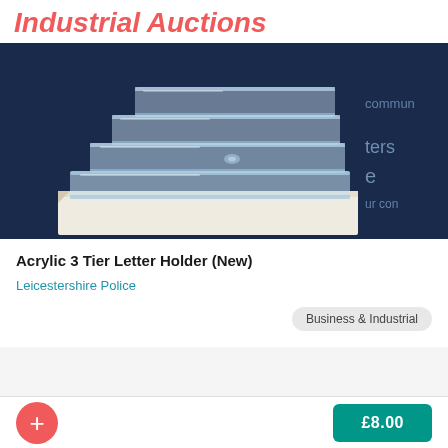Industrial Auctions
[Figure (photo): Photo of an acrylic 3-tier letter holder/desk organizer, clear plastic stepped tray on a white box, with a blue background showing partial text 'commun', 'ters', 'e', 'ur con']
Acrylic 3 Tier Letter Holder (New)
Leicestershire Police
Business & Industrial
£8.00